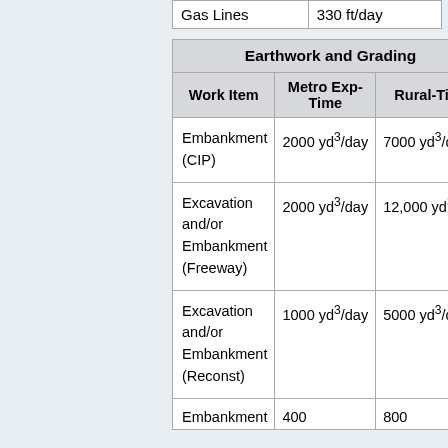|  |  |
| --- | --- |
| Gas Lines | 330 ft/day |
| Work Item | Metro Exp-Time | Rural-Time |
| --- | --- | --- |
| Embankment (CIP) | 2000 yd³/day | 7000 yd³/day |
| Excavation and/or Embankment (Freeway) | 2000 yd³/day | 12,000 yd³/day |
| Excavation and/or Embankment (Reconst) | 1000 yd³/day | 5000 yd³/day |
| Embankment (partial) | 400 ... | 800 ... |